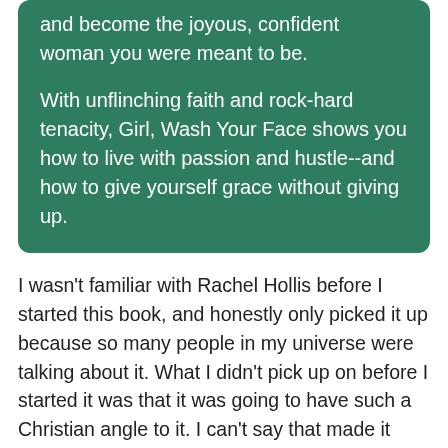and become the joyous, confident woman you were meant to be.

With unflinching faith and rock-hard tenacity, Girl, Wash Your Face shows you how to live with passion and hustle--and how to give yourself grace without giving up.
I wasn't familiar with Rachel Hollis before I started this book, and honestly only picked it up because so many people in my universe were talking about it. What I didn't pick up on before I started it was that it was going to have such a Christian angle to it. I can't say that made it terrible, but it meant that a lot of it didn't really speak to me.
I listened to the audiobook and enjoyed Hollis's